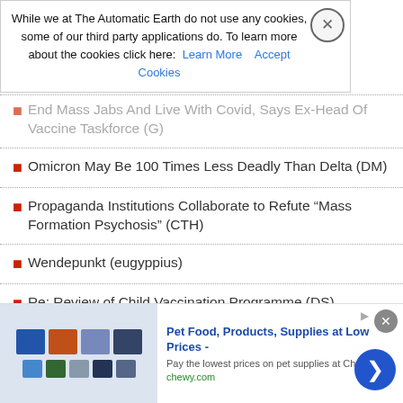While we at The Automatic Earth do not use any cookies, some of our third party applications do. To learn more about the cookies click here: Learn More  Accept Cookies
End Mass Jabs And Live With Covid, Says Ex-Head Of Vaccine Taskforce (G)
Omicron May Be 100 Times Less Deadly Than Delta (DM)
Propaganda Institutions Collaborate to Refute “Mass Formation Psychosis” (CTH)
Wendepunkt (eugyppius)
Re: Review of Child Vaccination Programme (DS)
New Symptom Of Omicron In Young Children Revealed (RT)
Does Covid19 Cause Diabetes In Kids? (Prasad)
Federal Vaccine Mandate Enters ‘Major Question’ Land (Turley)
People Injured by COVID-19 Vaccine Are Left in the Dark (FT)
[Figure (screenshot): Advertisement banner for Chewy.com pet food and supplies]